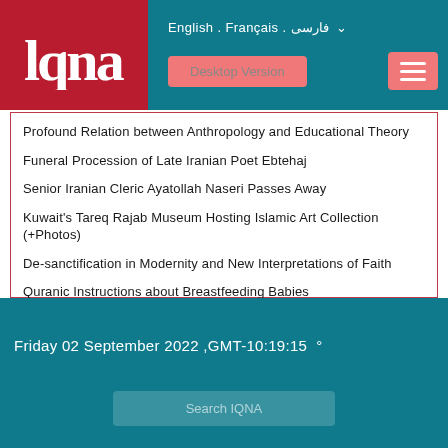[Figure (logo): IQNA logo in white text on red background]
English . Français . فارسی ∨
Desktop Version
Profound Relation between Anthropology and Educational Theory
Funeral Procession of Late Iranian Poet Ebtehaj
Senior Iranian Cleric Ayatollah Naseri Passes Away
Kuwait's Tareq Rajab Museum Hosting Islamic Art Collection (+Photos)
De-sanctification in Modernity and New Interpretations of Faith
Quranic Instructions about Breastfeeding Babies
Friday 02 September 2022 ,GMT-10:19:15 °
Search IQNA